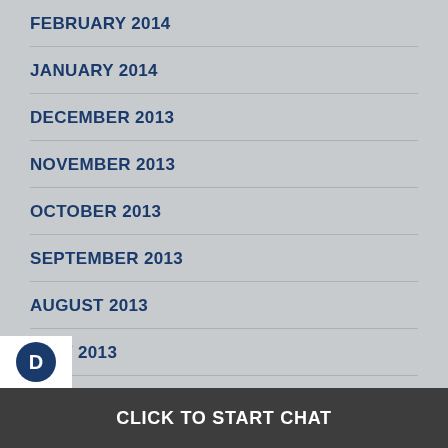FEBRUARY 2014
JANUARY 2014
DECEMBER 2013
NOVEMBER 2013
OCTOBER 2013
SEPTEMBER 2013
AUGUST 2013
JULY 2013
CLICK TO START CHAT